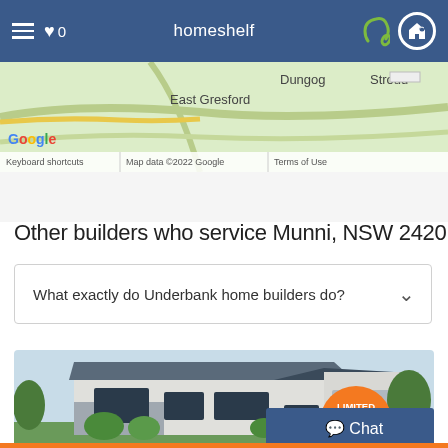homeshelf
[Figure (map): Google Maps partial view showing East Gresford, Dungog, Stroud area in NSW Australia. Map data ©2022 Google.]
Other builders who service Munni, NSW 2420
What exactly do Underbank home builders do?
[Figure (photo): Photo of a modern single-storey home with dark grey roof, light grey cladding, brick accents, and landscaped garden. An orange 'LIMITED TIME ONLY' badge is overlaid.]
Chat